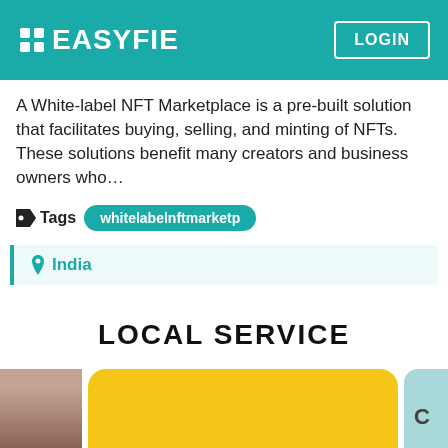EASYFIE | LOGIN
A White-label NFT Marketplace is a pre-built solution that facilitates buying, selling, and minting of NFTs. These solutions benefit many creators and business owners who...
Tags  whitelabelnftmarketp
India
LOCAL SERVICE
[Figure (other): Bottom row of service cards: a person photo card on the left, a yellow card in the center, and a teal card partially visible on the right]